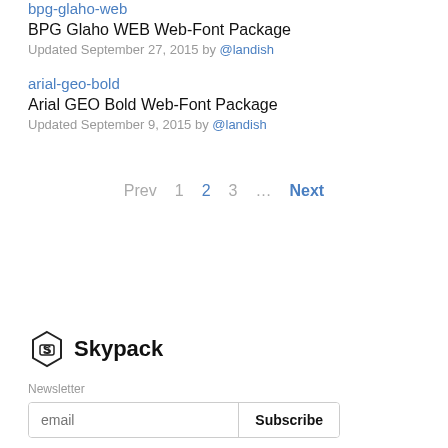bpg-glaho-web
BPG Glaho WEB Web-Font Package
Updated September 27, 2015 by @landish
arial-geo-bold
Arial GEO Bold Web-Font Package
Updated September 9, 2015 by @landish
Prev 1 2 3 … Next
[Figure (logo): Skypack logo with hexagon icon and bold text 'Skypack']
Newsletter
email Subscribe